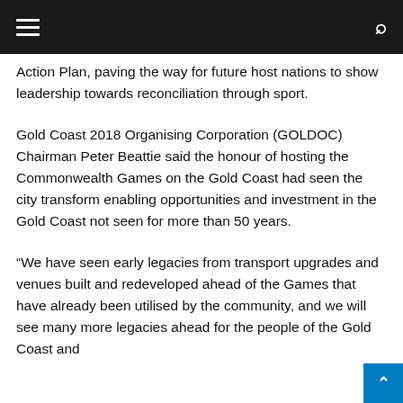Action Plan, paving the way for future host nations to show leadership towards reconciliation through sport.
Gold Coast 2018 Organising Corporation (GOLDOC) Chairman Peter Beattie said the honour of hosting the Commonwealth Games on the Gold Coast had seen the city transform enabling opportunities and investment in the Gold Coast not seen for more than 50 years.
“We have seen early legacies from transport upgrades and venues built and redeveloped ahead of the Games that have already been utilised by the community, and we will see many more legacies ahead for the people of the Gold Coast and